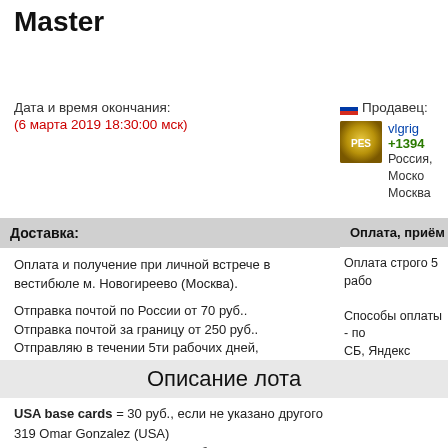Master
Дата и время окончания:
(6 марта 2019 18:30:00 мск)
Продавец:
vlgrig +1394
Россия, Москва
Москва
Доставка:
Оплата, приём пла
Оплата и получение при личной встрече в вестибюле м. Новогиреево (Москва).
Отправка почтой по России от 70 руб..
Отправка почтой за границу от 250 руб..
Отправляю в течении 5ти рабочих дней, после получения денег (день получения денег не считается).
Оплата строго 5 рабо
Способы оплаты - по СБ, Яндекс Деньги ил перевод.
Описание лота
USA base cards = 30 руб., если не указано другого
319 Omar Gonzalez (USA)
320 Graham Zusi (USA) = 60 руб.
321 Jermaine Jones (USA)